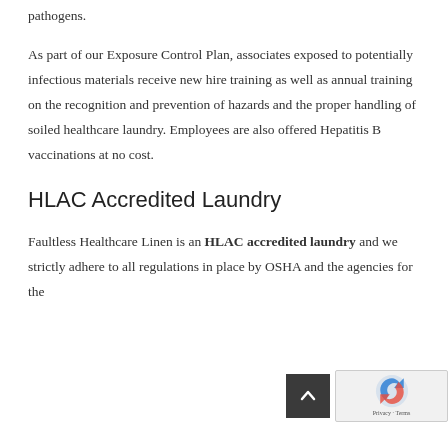pathogens.
As part of our Exposure Control Plan, associates exposed to potentially infectious materials receive new hire training as well as annual training on the recognition and prevention of hazards and the proper handling of soiled healthcare laundry. Employees are also offered Hepatitis B vaccinations at no cost.
HLAC Accredited Laundry
Faultless Healthcare Linen is an HLAC accredited laundry and we strictly adhere to all regulations in place by OSHA and other agencies for the...